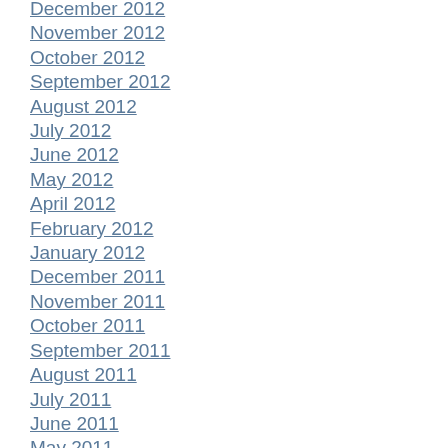December 2012
November 2012
October 2012
September 2012
August 2012
July 2012
June 2012
May 2012
April 2012
February 2012
January 2012
December 2011
November 2011
October 2011
September 2011
August 2011
July 2011
June 2011
May 2011